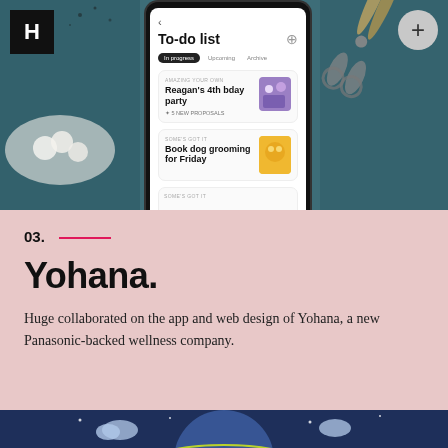[Figure (screenshot): Yohana app to-do list screenshot shown on a phone mockup, against a teal background with food photography and scissors. Shows 'To-do list' header with tabs 'In progress', 'Upcoming', 'Archive', and task cards including 'Reagan's 4th bday party' and 'Book dog grooming for Friday'. H agency logo in top left corner, plus button in top right.]
03.
Yohana.
Huge collaborated on the app and web design of Yohana, a new Panasonic-backed wellness company.
[Figure (illustration): Dark blue background with illustrated globe and clouds, yellow-green orbital line, white building/house icons on the globe surface]